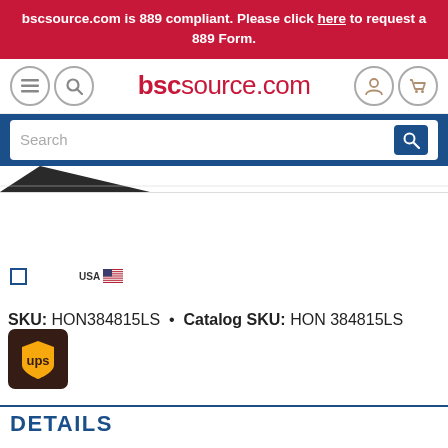bscsource.com is 889 compliant. Please click here to request a 889 Form.
[Figure (logo): bscsource.com website header with navigation icons (menu, search, account, cart) and logo text]
[Figure (screenshot): Search bar with blue background and search button]
[Figure (photo): Partial dark triangular shape from a product image]
[Figure (logo): Small blue square checkbox and USA flag badge]
SKU: HON384815LS • Catalog SKU: HON 384815LS
[Figure (logo): UPS shipping logo - brown square with UPS shield]
DETAILS